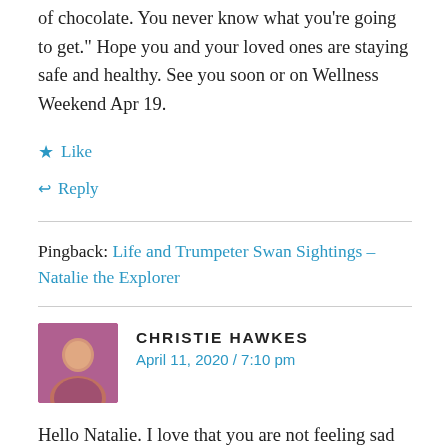of chocolate. You never know what you're going to get." Hope you and your loved ones are staying safe and healthy. See you soon or on Wellness Weekend Apr 19.
Like
Reply
Pingback: Life and Trumpeter Swan Sightings – Natalie the Explorer
CHRISTIE HAWKES
April 11, 2020 / 7:10 pm
Hello Natalie. I love that you are not feeling sad about having to cancel your travel plans, but are grateful to be at home. So